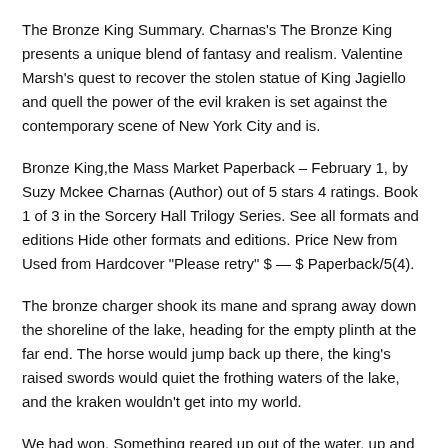The Bronze King Summary. Charnas's The Bronze King presents a unique blend of fantasy and realism. Valentine Marsh's quest to recover the stolen statue of King Jagiello and quell the power of the evil kraken is set against the contemporary scene of New York City and is.
Bronze King,the Mass Market Paperback – February 1, by Suzy Mckee Charnas (Author) out of 5 stars 4 ratings. Book 1 of 3 in the Sorcery Hall Trilogy Series. See all formats and editions Hide other formats and editions. Price New from Used from Hardcover "Please retry" $ — $ Paperback/5(4).
The bronze charger shook its mane and sprang away down the shoreline of the lake, heading for the empty plinth at the far end. The horse would jump back up there, the king's raised swords would quiet the frothing waters of the lake, and the kraken wouldn't get into my world.
We had won. Something reared up out of the water, up and up. The Blue Fairy Book/The Bronze Ring. From Wikisource Book. The King